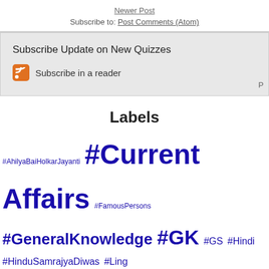Newer Post
Subscribe to: Post Comments (Atom)
Subscribe Update on New Quizzes
Subscribe in a reader
Labels
#AhilyaBaiHolkarJayanti #Current Affairs #FamousPersons #GeneralKnowledge #GK #GS #Hindi #HinduSamrajyaDiwas #Ling #Management #ShivajiMaharaj 2012 2012 GK 2013 Current Affairs 2013 Daily Logo Quiz 2013 General Knowledge 2013 Logo Game Quiz 2014AugustCA 2014AugustGK 2014AugustGS